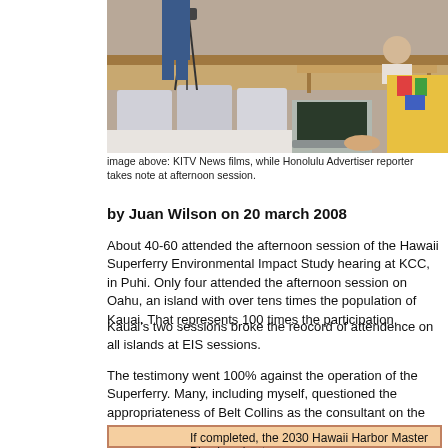[Figure (photo): Photo of a meeting/hearing room: chairs, a camera on tripod filming, a person using a laptop in the foreground wearing a colorful Hawaiian shirt, and another person sitting at a table in the background.]
image above: KITV News films, while Honolulu Advertiser reporter takes note at afternoon session.
by Juan Wilson on 20 march 2008
About 40-60 attended the afternoon session of the Hawaii Superferry Environmental Impact Study hearing at KCC, in Puhi. Only four attended the afternoon session on Oahu, an island with over tens times the population of Kauai. That represents 100 times the participation.
Kauai's two sessions broke the reocord of attendence on all islands at EIS sessions.
The testimony went 100% against the operation of the Superferry. Many, including myself, questioned the appropriateness of Belt Collins as the consultant on the EIS and even the afer the fact EIS process itself.
If completed, the 2030 Hawaii Harbor Master Plan is going to...